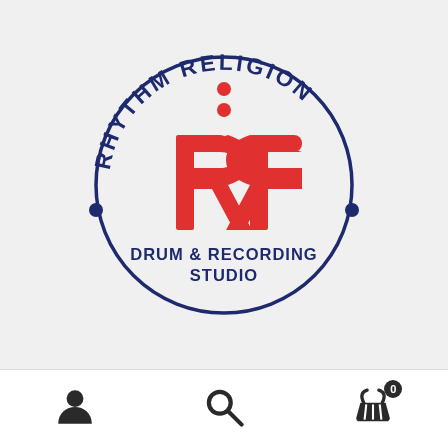[Figure (logo): Rhythm Religion Drum & Recording Studio circular logo featuring two mirrored red R letters, navy blue circular text reading RHYTHM RELIGION arched at top, and DRUM & RECORDING STUDIO text at the bottom inside the circle. Two small navy circles are on the sides of the circle border like drumstick endpoints.]
[Figure (infographic): Mobile app bottom navigation bar with three icons: a person/user silhouette icon on the left, a magnifying glass search icon in the center, and a shopping basket/cart icon on the right with a badge showing the number 0.]